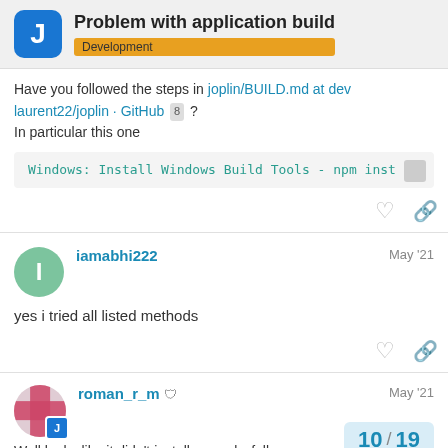Problem with application build | Development
Have you followed the steps in joplin/BUILD.md at dev laurent22/joplin · GitHub 8 ?
In particular this one
Windows: Install Windows Build Tools - npm inst
iamabhi222  May '21
yes i tried all listed methods
roman_r_m  May '21
10 / 19